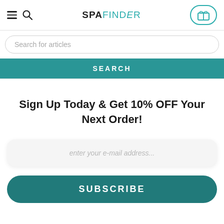SPAFINDER — navigation header with hamburger, search icon, logo, and gift card button
Search for articles
SEARCH
Sign Up Today & Get 10% OFF Your Next Order!
enter your e-mail address...
SUBSCRIBE